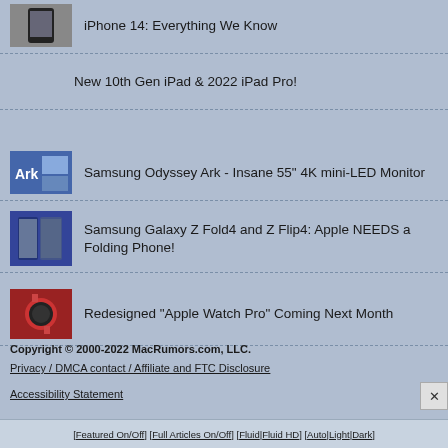iPhone 14: Everything We Know
New 10th Gen iPad & 2022 iPad Pro!
Samsung Odyssey Ark - Insane 55" 4K mini-LED Monitor
Samsung Galaxy Z Fold4 and Z Flip4: Apple NEEDS a Folding Phone!
Redesigned "Apple Watch Pro" Coming Next Month
Copyright © 2000-2022 MacRumors.com, LLC.
Privacy / DMCA contact / Affiliate and FTC Disclosure
Accessibility Statement
[ Featured On/Off ] [ Full Articles On/Off ] [ Fluid | Fluid HD ] [ Auto | Light | Dark ]